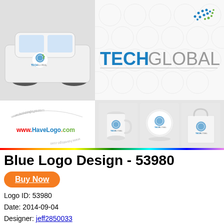[Figure (photo): TechGlobal logo mockup showing car with logo, logo on white background with circle pattern, and product mockups (mug, ball, bag) with TechGlobal branding. Watermark www.HaveLogo.com visible.]
Blue Logo Design - 53980
Buy Now
Logo ID: 53980
Date: 2014-09-04
Designer: jeff2850033
Tags: